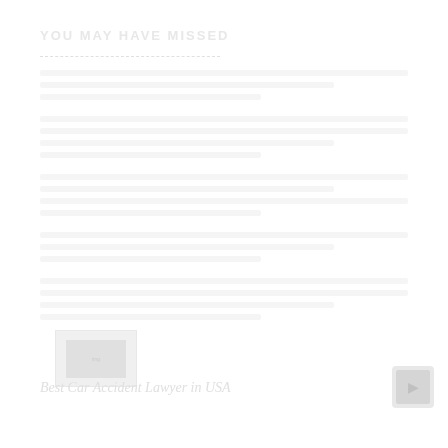YOU MAY HAVE MISSED
[Figure (illustration): Thumbnail image placeholder for article]
Best Car Accident Lawyer in USA